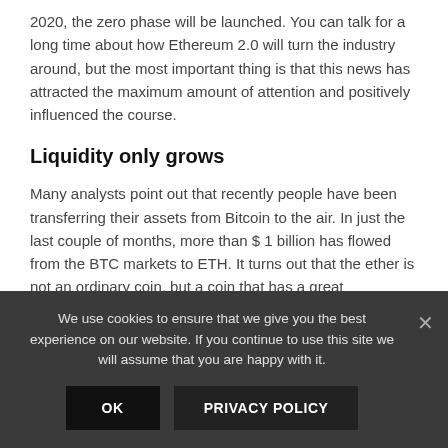2020, the zero phase will be launched. You can talk for a long time about how Ethereum 2.0 will turn the industry around, but the most important thing is that this news has attracted the maximum amount of attention and positively influenced the course.
Liquidity only grows
Many analysts point out that recently people have been transferring their assets from Bitcoin to the air. In just the last couple of months, more than $ 1 billion has flowed from the BTC markets to ETH. It turns out that the ether is not an ordinary coin, but a coin that has a great
We use cookies to ensure that we give you the best experience on our website. If you continue to use this site we will assume that you are happy with it.